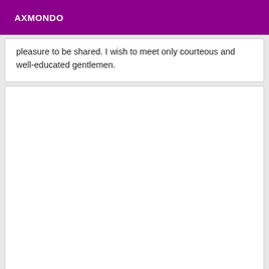AXMONDO
pleasure to be shared. I wish to meet only courteous and well-educated gentlemen.
[Figure (other): Empty white card/panel below the text card]